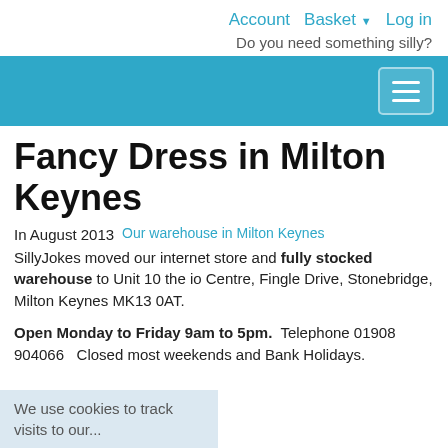Account  Basket ▼  Log in
Do you need something silly?
[Figure (screenshot): Blue navigation banner with hamburger menu icon on the right]
Fancy Dress in Milton Keynes
In August 2013   [Our warehouse in Milton Keynes image]  SillyJokes moved our internet store and fully stocked warehouse to Unit 10 the io Centre, Fingle Drive, Stonebridge, Milton Keynes MK13 0AT.
Open Monday to Friday 9am to 5pm.  Telephone 01908 904066   Closed most weekends and Bank Holidays.
We use cookies to track visits to our...